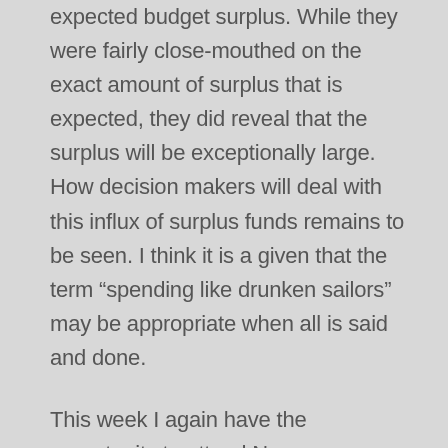expected budget surplus. While they were fairly close-mouthed on the exact amount of surplus that is expected, they did reveal that the surplus will be exceptionally large. How decision makers will deal with this influx of surplus funds remains to be seen. I think it is a given that the term “spending like drunken sailors” may be appropriate when all is said and done.
This week I again have the opportunity to attend Newsom